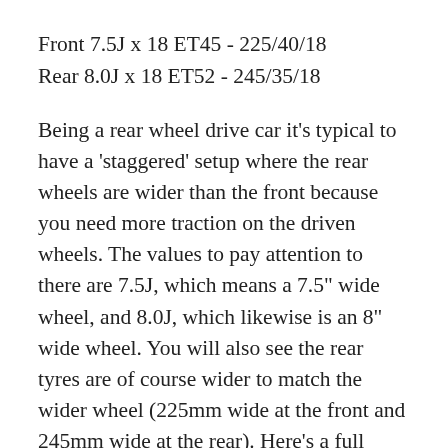Front 7.5J x 18 ET45 - 225/40/18
Rear 8.0J x 18 ET52 - 245/35/18
Being a rear wheel drive car it's typical to have a 'staggered' setup where the rear wheels are wider than the front because you need more traction on the driven wheels. The values to pay attention to there are 7.5J, which means a 7.5" wide wheel, and 8.0J, which likewise is an 8" wide wheel. You will also see the rear tyres are of course wider to match the wider wheel (225mm wide at the front and 245mm wide at the rear). Here's a full breakdown of all the numbers from my front wheels and tyres if you're interested:
7.5J - This means a 7.5" wide wheel